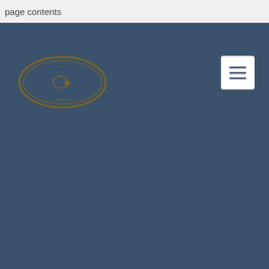page contents
[Figure (logo): Oval government/institutional seal with crescent moon and star emblem, brown/dark gold color on dark blue-gray background]
[Figure (other): Hamburger menu button (three horizontal lines) in white square rounded rectangle on dark background, top-right corner]